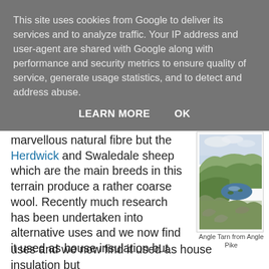This site uses cookies from Google to deliver its services and to analyze traffic. Your IP address and user-agent are shared with Google along with performance and security metrics to ensure quality of service, generate usage statistics, and to detect and address abuse.
LEARN MORE   OK
marvellous natural fibre but the Herdwick and Swaledale sheep which are the main breeds in this terrain produce a rather coarse wool. Recently much research has been undertaken into alternative uses and we now find it used as house insulation but
[Figure (photo): Landscape photo of Angle Tarn from Angle Pike, showing a mountain lake (tarn) surrounded by green rolling hills and rocky terrain under a partly cloudy sky in the Lake District.]
Angle Tarn from Angle Pike